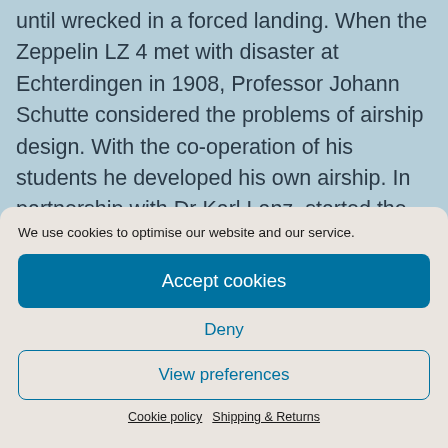until wrecked in a forced landing. When the Zeppelin LZ 4 met with disaster at Echterdingen in 1908, Professor Johann Schutte considered the problems of airship design. With the co-operation of his students he developed his own airship. In partnership with Dr Karl Lanz, started the Schutte-Lanz Luftschiffbau. The ships were successful at first and introduced several highly successful innovations.
We use cookies to optimise our website and our service.
Accept cookies
Deny
View preferences
Cookie policy   Shipping & Returns